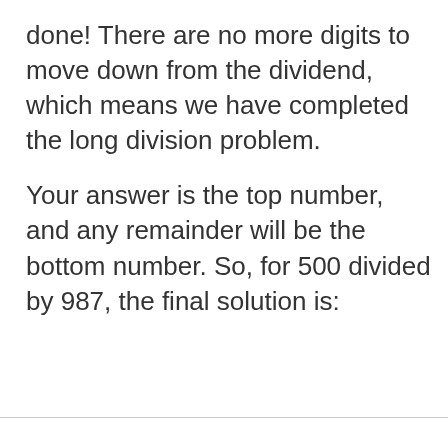done! There are no more digits to move down from the dividend, which means we have completed the long division problem.
Your answer is the top number, and any remainder will be the bottom number. So, for 500 divided by 987, the final solution is: